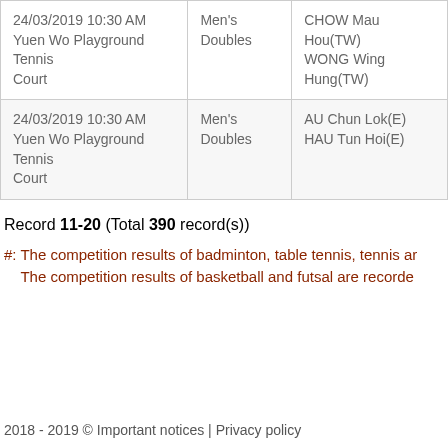| Date/Venue | Category | Players |
| --- | --- | --- |
| 24/03/2019 10:30 AM
Yuen Wo Playground Tennis Court | Men's Doubles | CHOW Mau Hou(TW)
WONG Wing Hung(TW) |
| 24/03/2019 10:30 AM
Yuen Wo Playground Tennis Court | Men's Doubles | AU Chun Lok(E)
HAU Tun Hoi(E) |
Record 11-20 (Total 390 record(s))
#: The competition results of badminton, table tennis, tennis ar... The competition results of basketball and futsal are recorde...
2018 - 2019 © Important notices | Privacy policy